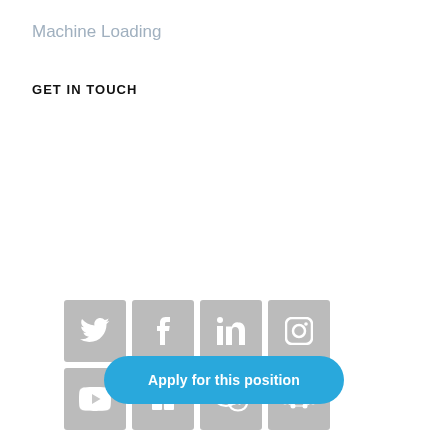Machine Loading
GET IN TOUCH
[Figure (infographic): 8 social media icon tiles in a 4x2 grid: Twitter, Facebook, LinkedIn, Instagram (top row); YouTube, Redbubble/Squarespace, WeChat, Yammer/network (bottom row). All tiles are gray with white icons.]
Apply for this position